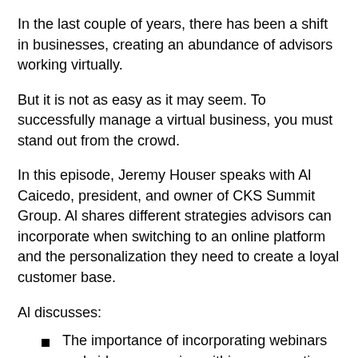In the last couple of years, there has been a shift in businesses, creating an abundance of advisors working virtually.
But it is not as easy as it may seem. To successfully manage a virtual business, you must stand out from the crowd.
In this episode, Jeremy Houser speaks with Al Caicedo, president, and owner of CKS Summit Group. Al shares different strategies advisors can incorporate when switching to an online platform and the personalization they need to create a loyal customer base.
Al discusses:
The importance of incorporating webinars and video messaging within your practice
The truth about trust, ego, and commitment